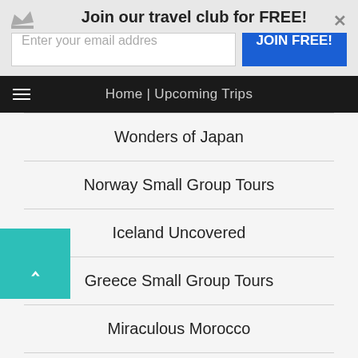Join our travel club for FREE!
Enter your email addres
JOIN FREE!
Home | Upcoming Trips
Wonders of Japan
Norway Small Group Tours
Iceland Uncovered
Greece Small Group Tours
Miraculous Morocco
Mystical Israel & Timeless Jordan